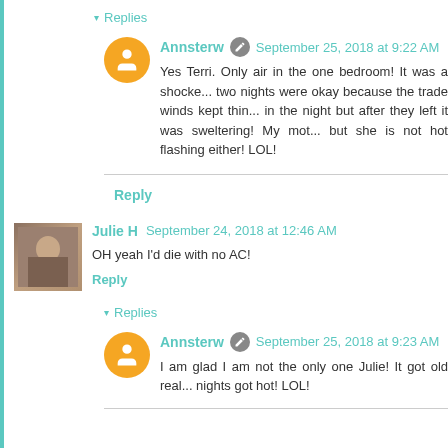▾ Replies
Annsterw September 25, 2018 at 9:22 AM
Yes Terri. Only air in the one bedroom! It was a shocker... two nights were okay because the trade winds kept things cool in the night but after they left it was sweltering! My moth... but she is not hot flashing either! LOL!
Reply
Julie H September 24, 2018 at 12:46 AM
OH yeah I'd die with no AC!
Reply
▾ Replies
Annsterw September 25, 2018 at 9:23 AM
I am glad I am not the only one Julie! It got old real... nights got hot! LOL!